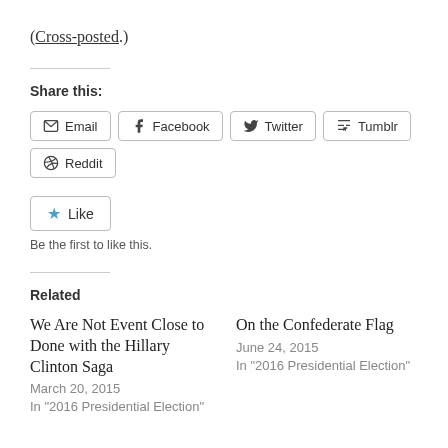(Cross-posted.)
Share this:
Email  Facebook  Twitter  Tumblr  Reddit
★ Like
Be the first to like this.
Related
We Are Not Event Close to Done with the Hillary Clinton Saga
March 20, 2015
In "2016 Presidential Election"
On the Confederate Flag
June 24, 2015
In "2016 Presidential Election"